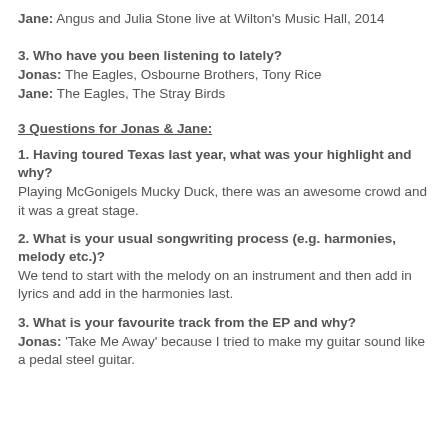Jane: Angus and Julia Stone live at Wilton's Music Hall, 2014
3. Who have you been listening to lately?
Jonas: The Eagles, Osbourne Brothers, Tony Rice
Jane: The Eagles, The Stray Birds
3 Questions for Jonas & Jane:
1. Having toured Texas last year, what was your highlight and why?
Playing McGonigels Mucky Duck, there was an awesome crowd and it was a great stage.
2. What is your usual songwriting process (e.g. harmonies, melody etc.)?
We tend to start with the melody on an instrument and then add in lyrics and add in the harmonies last.
3. What is your favourite track from the EP and why?
Jonas: 'Take Me Away' because I tried to make my guitar sound like a pedal steel guitar.